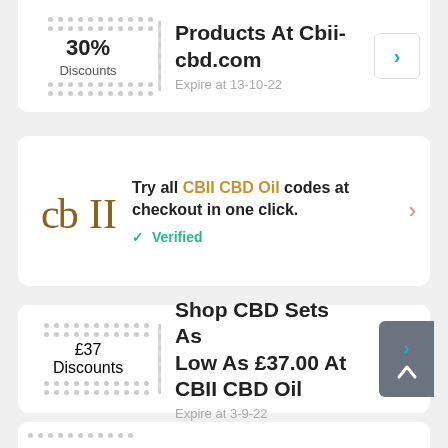30% Discounts
Products At Cbii-cbd.com
Expire at 13-10-22
Try all CBII CBD Oil codes at checkout in one click.
Verified
£37 Discounts
Shop CBD Sets As Low As £37.00 At CBII CBD Oil
Expire at 3-9-22